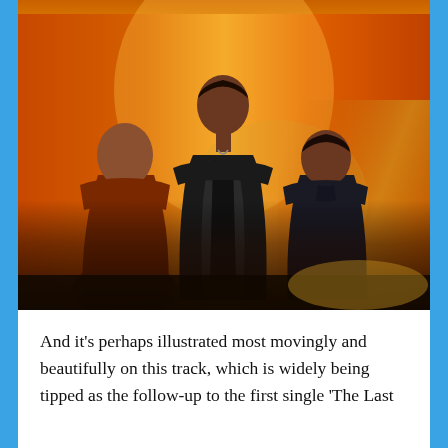[Figure (photo): Three men standing against an orange/amber glowing background. The man on the left is bald and wearing a brown leather jacket. The man in the center is taller, wearing a dark jacket over a black shirt. The man on the right has dark hair and is wearing a dark shirt. The lower portion of the image is darker/blurred.]
And it's perhaps illustrated most movingly and beautifully on this track, which is widely being tipped as the follow-up to the first single 'The Last